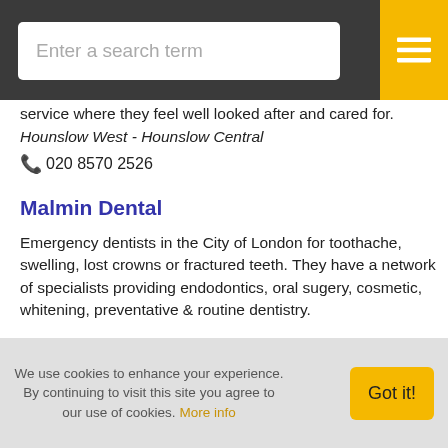[Figure (screenshot): Search bar with placeholder text 'Enter a search term' on dark gray header, with yellow hamburger menu button on far right]
service where they feel well looked after and cared for.
Hounslow West - Hounslow Central
020 8570 2526
Malmin Dental
Emergency dentists in the City of London for toothache, swelling, lost crowns or fractured teeth. They have a network of specialists providing endodontics, oral sugery, cosmetic, whitening, preventative & routine dentistry.
Farringdon Road
EC1M 3HP
020 7251 2222
We use cookies to enhance your experience. By continuing to visit this site you agree to our use of cookies. More info